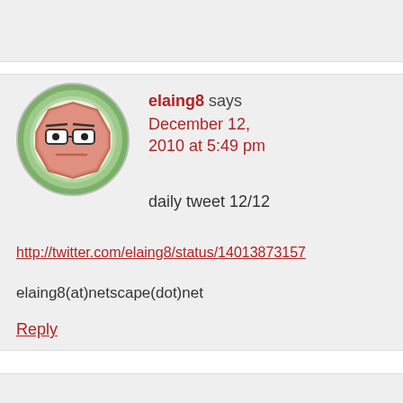[Figure (illustration): Avatar of elaing8: a cartoon octagonal face with glasses, salmon/pink color, inside a green circular badge, on a light gray card background]
elaing8 says December 12, 2010 at 5:49 pm
daily tweet 12/12
http://twitter.com/elaing8/status/14013873157
elaing8(at)netscape(dot)net
Reply